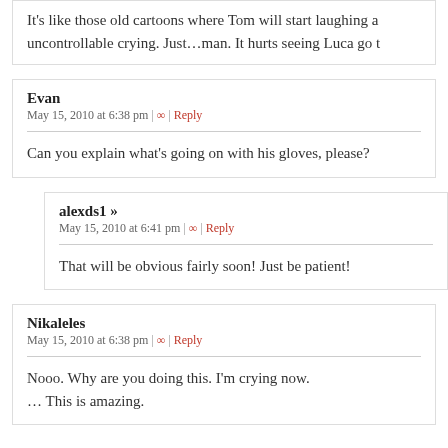It's like those old cartoons where Tom will start laughing a uncontrollable crying. Just...man. It hurts seeing Luca go t
Evan
May 15, 2010 at 6:38 pm | ∞ | Reply
Can you explain what's going on with his gloves, please?
alexds1 »
May 15, 2010 at 6:41 pm | ∞ | Reply
That will be obvious fairly soon! Just be patient!
Nikaleles
May 15, 2010 at 6:38 pm | ∞ | Reply
Nooo. Why are you doing this. I'm crying now.
... This is amazing.